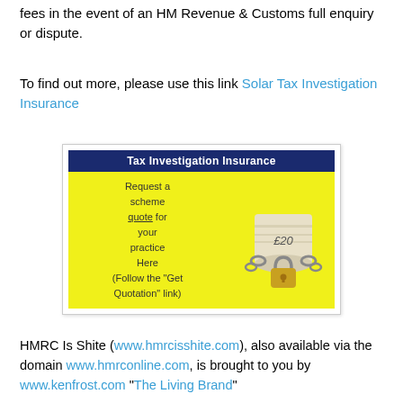fees in the event of an HM Revenue & Customs full enquiry or dispute.
To find out more, please use this link Solar Tax Investigation Insurance
[Figure (illustration): Tax Investigation Insurance advertisement image showing a rolled £20 note secured with a padlock and chain on a yellow background, with text 'Request a scheme quote for your practice Here (Follow the "Get Quotation" link)' and header 'Tax Investigation Insurance']
HMRC Is Shite (www.hmrcisshite.com), also available via the domain www.hmrconline.com, is brought to you by www.kenfrost.com "The Living Brand"